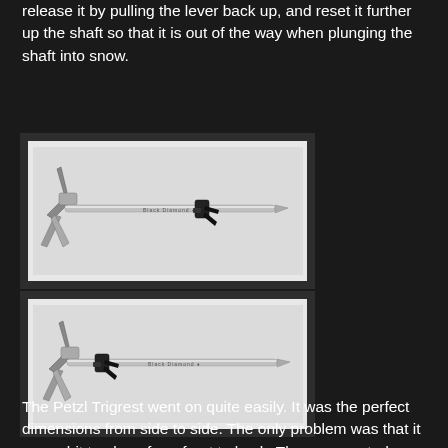release it by pulling the lever back up, and reset it further up the shaft so that it is out of the way when plunging the shaft into snow.
[Figure (photo): Photo of an ice axe (Black Diamond) lying on a white/grey snowy surface, with a trigger/lever mechanism visible on the shaft, positioned roughly in the center-right area of the shaft. The axe head (pick and adze) is visible on the left side.]
[Figure (photo): Photo of the same ice axe (Black Diamond) on a snowy surface, but with the trigger/lever mechanism repositioned closer to the head/left side of the shaft. The axe head is on the left.]
The Petzl Trigrest went on quite easily. It was the perfect dimensions from side to side. The only problem was that it was a bit too long from front to back. The gap created was